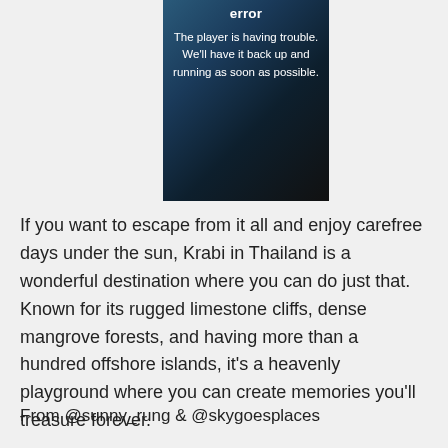[Figure (screenshot): Video player error overlay showing text 'error' in bold white at top, followed by message 'The player is having trouble. We'll have it back up and running as soon as possible.' on a dark beach/coastal background image.]
If you want to escape from it all and enjoy carefree days under the sun, Krabi in Thailand is a wonderful destination where you can do just that. Known for its rugged limestone cliffs, dense mangrove forests, and having more than a hundred offshore islands, it's a heavenly playground where you can create memories you'll treasure forever.
From @sunny_rung & @skygoesplaces